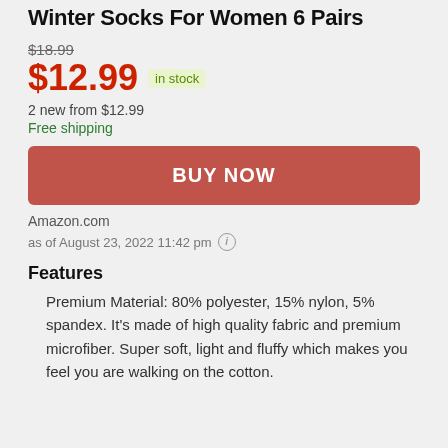Winter Socks For Women 6 Pairs
$18.99 (strikethrough)
$12.99 in stock
2 new from $12.99
Free shipping
BUY NOW
Amazon.com
as of August 23, 2022 11:42 pm
Features
Premium Material: 80% polyester, 15% nylon, 5% spandex. It's made of high quality fabric and premium microfiber. Super soft, light and fluffy which makes you feel you are walking on the cotton.